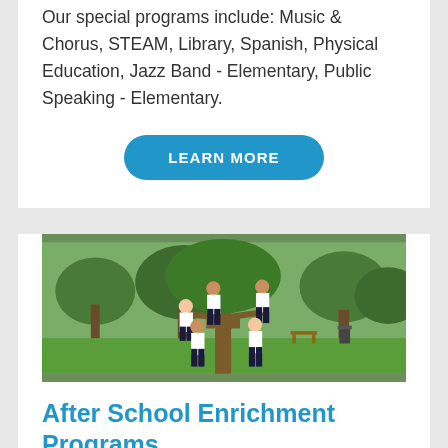Our special programs include: Music & Chorus, STEAM, Library, Spanish, Physical Education, Jazz Band - Elementary, Public Speaking - Elementary.
LEARN MORE
[Figure (photo): Five school children in white uniforms climbing and standing around a tree in a park setting]
After School Enrichment Programs
Hudson Montessori offers several After School Enrichment